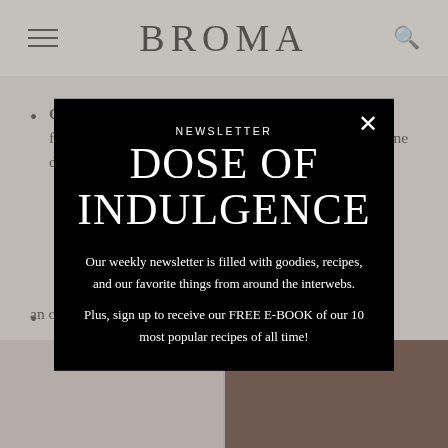BROMA
Only stir the fudge in one direction: To prevent your fudge layer from splitting, try to only stir the fudge in one direction.
(partial text obscured by modal)
an ooey, gooey, chewy center.
[Figure (photo): Two bowls photographed from above, one white and one dark brown, partially visible at the bottom of the page]
[Figure (infographic): Newsletter modal popup with black background showing 'NEWSLETTER / DOSE OF INDULGENCE' title and subscription text with close button]